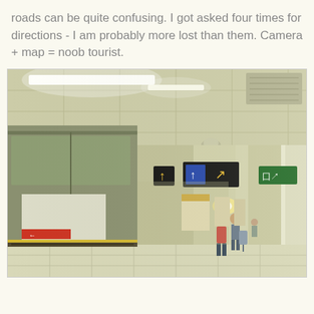roads can be quite confusing. I got asked four times for directions - I am probably more lost than them. Camera + map = noob tourist.
[Figure (photo): Interior of a subway/metro station platform. A long platform extends into the distance. The ceiling has fluorescent strip lighting. Overhead directional signs with yellow arrows are visible. A train is stopped on the left side. A person in a red shirt and another figure stand on the platform. The floor has yellow safety stripe markings. Walls are clad in light green/beige tiles.]